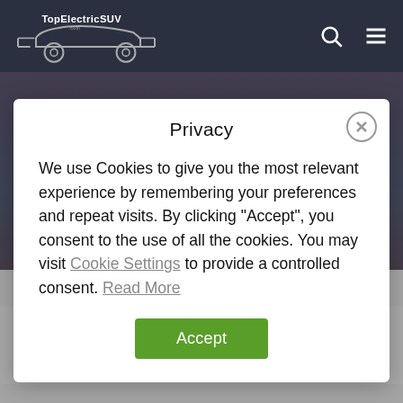TopElectricSUV.com
[Figure (screenshot): Dark hero image behind privacy modal overlay]
Privacy
We use Cookies to give you the most relevant experience by remembering your preferences and repeat visits. By clicking “Accept”, you consent to the use of all the cookies. You may visit Cookie Settings to provide a controlled consent. Read More
Accept
Home » News » MG » Next-gen MG Marvel R to launch in 2023; feature RHD model – Report [Update]